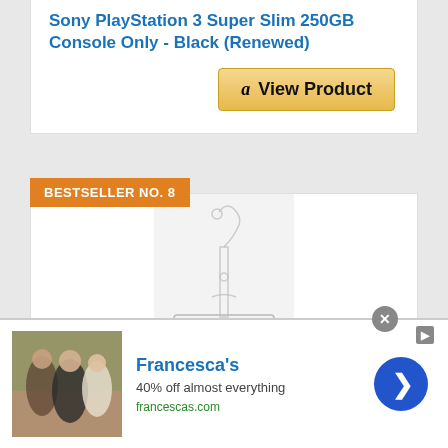Sony PlayStation 3 Super Slim 250GB Console Only - Black (Renewed)
[Figure (photo): Amazon View Product button with Amazon logo]
BESTSELLER NO. 8
[Figure (photo): Clear plastic display stand product image on light gray background]
[Figure (photo): Francesca's advertisement banner showing group of women, text: 40% off almost everything, francescas.com]